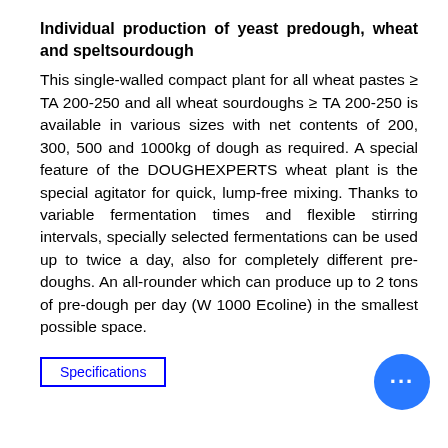Individual production of yeast predough, wheat and speltsourdough
This single-walled compact plant for all wheat pastes ≥ TA 200-250 and all wheat sourdoughs ≥ TA 200-250 is available in various sizes with net contents of 200, 300, 500 and 1000kg of dough as required. A special feature of the DOUGHEXPERTS wheat plant is the special agitator for quick, lump-free mixing. Thanks to variable fermentation times and flexible stirring intervals, specially selected fermentations can be used up to twice a day, also for completely different pre-doughs. An all-rounder which can produce up to 2 tons of pre-dough per day (W 1000 Ecoline) in the smallest possible space.
Specifications